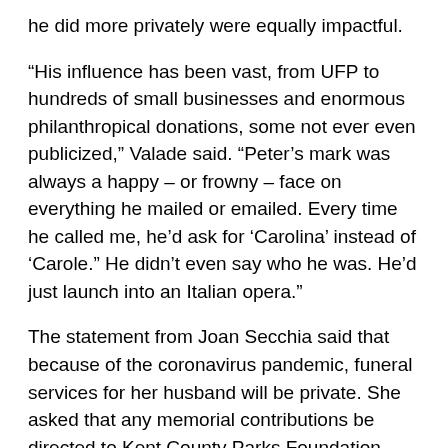he did more privately were equally impactful.
“His influence has been vast, from UFP to hundreds of small businesses and enormous philanthropical donations, some not ever even publicized,” Valade said. “Peter’s mark was always a happy – or frowny – face on everything he mailed or emailed. Every time he called me, he’d ask for ‘Carolina’ instead of ‘Carole.” He didn’t even say who he was. He’d just launch into an Italian opera.”
The statement from Joan Secchia said that because of the coronavirus pandemic, funeral services for her husband will be private. She asked that any memorial contributions be directed to Kent County Parks Foundation – Millennium Park, the Michigan State University Grand Rapids Research Center or the Peter F. Secchia Endowed Scholarship at the Michigan State University College of Human Medicine.